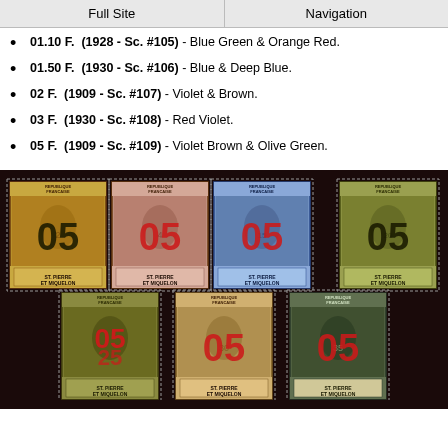Full Site | Navigation
01.10 F. (1928 - Sc. #105) - Blue Green & Orange Red.
01.50 F. (1930 - Sc. #106) - Blue & Deep Blue.
02 F. (1909 - Sc. #107) - Violet & Brown.
03 F. (1930 - Sc. #108) - Red Violet.
05 F. (1909 - Sc. #109) - Violet Brown & Olive Green.
[Figure (photo): Seven St. Pierre et Miquelon stamps with '05' overprint in red or black, displayed in two rows on dark background. Top row has 4 stamps, bottom row has 3 stamps.]